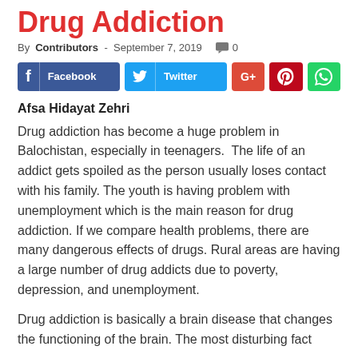Drug Addiction
By Contributors - September 7, 2019  0
[Figure (infographic): Social media sharing buttons: Facebook, Twitter, Google+, Pinterest, WhatsApp]
Afsa Hidayat Zehri
Drug addiction has become a huge problem in Balochistan, especially in teenagers.  The life of an addict gets spoiled as the person usually loses contact with his family. The youth is having problem with unemployment which is the main reason for drug addiction. If we compare health problems, there are many dangerous effects of drugs. Rural areas are having a large number of drug addicts due to poverty, depression, and unemployment.
Drug addiction is basically a brain disease that changes the functioning of the brain. The most disturbing fact